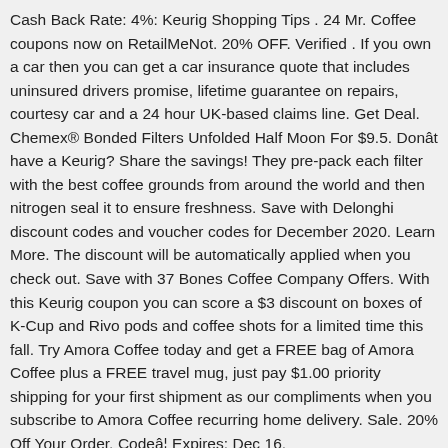Cash Back Rate: 4%: Keurig Shopping Tips . 24 Mr. Coffee coupons now on RetailMeNot. 20% OFF. Verified . If you own a car then you can get a car insurance quote that includes uninsured drivers promise, lifetime guarantee on repairs, courtesy car and a 24 hour UK-based claims line. Get Deal. Chemex® Bonded Filters Unfolded Half Moon For $9.5. Donât have a Keurig? Share the savings! They pre-pack each filter with the best coffee grounds from around the world and then nitrogen seal it to ensure freshness. Save with Delonghi discount codes and voucher codes for December 2020. Learn More. The discount will be automatically applied when you check out. Save with 37 Bones Coffee Company Offers. With this Keurig coupon you can score a $3 discount on boxes of K-Cup and Rivo pods and coffee shots for a limited time this fall. Try Amora Coffee today and get a FREE bag of Amora Coffee plus a FREE travel mug, just pay $1.00 priority shipping for your first shipment as our compliments when you subscribe to Amora Coffee recurring home delivery. Sale. 20% Off Your Order. Codeâ¦ Expires: Dec 16,